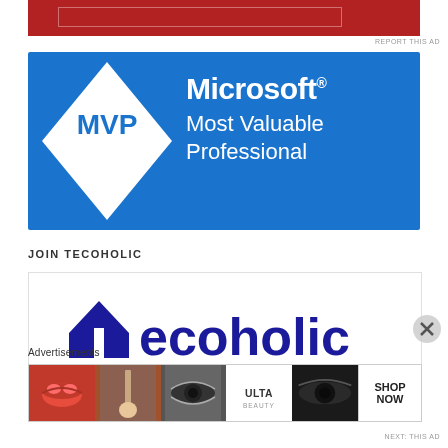[Figure (screenshot): Top portion of a red advertisement banner partially visible at top of page]
REPORT THIS AD
[Figure (logo): Microsoft MVP Most Valuable Professional badge — blue rectangular background with white diamond shape containing 'MVP' in blue text on left, and 'Microsoft® Most Valuable Professional' in white text on right]
JOIN TECOHOLIC
[Figure (logo): Tecoholic logo — large blue letter T with house/roof shape forming the icon, followed by 'ecoholic' text in dark blue, partially cropped]
Advertisements
[Figure (screenshot): ULTA beauty advertisement banner showing makeup/beauty imagery with 'SHOP NOW' call to action on the right side]
NEXT: THIS AD